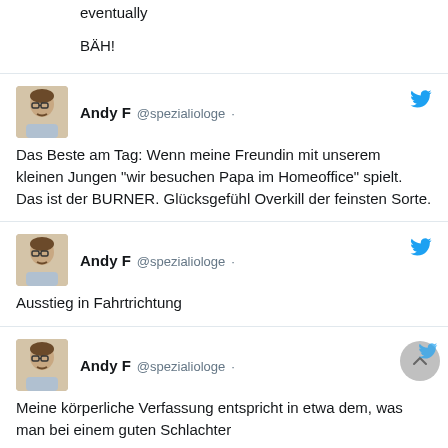eventually
BÄH!
Andy F @spezialiologe · Das Beste am Tag: Wenn meine Freundin mit unserem kleinen Jungen "wir besuchen Papa im Homeoffice" spielt. Das ist der BURNER. Glücksgefühl Overkill der feinsten Sorte.
Andy F @spezialiologe · Ausstieg in Fahrtrichtung
Andy F @spezialiologe · Meine körperliche Verfassung entspricht in etwa dem, was man bei einem guten Schlachter